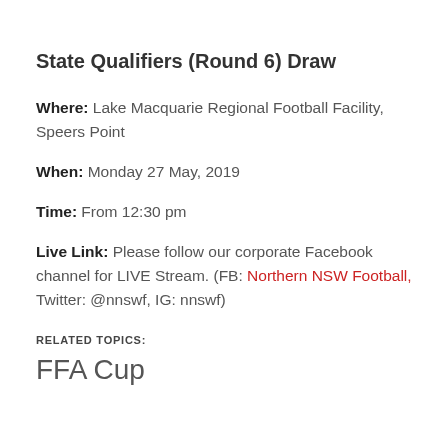State Qualifiers (Round 6) Draw
Where: Lake Macquarie Regional Football Facility, Speers Point
When: Monday 27 May, 2019
Time: From 12:30 pm
Live Link: Please follow our corporate Facebook channel for LIVE Stream. (FB: Northern NSW Football, Twitter: @nnswf, IG: nnswf)
RELATED TOPICS:
FFA Cup